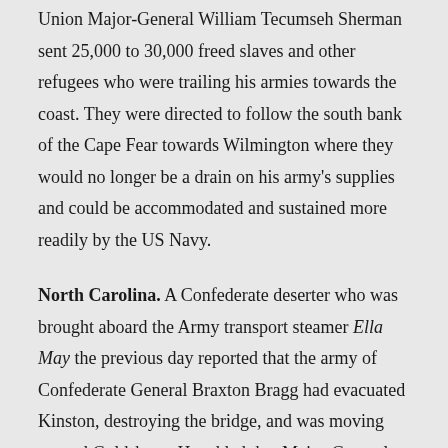Union Major-General William Tecumseh Sherman sent 25,000 to 30,000 freed slaves and other refugees who were trailing his armies towards the coast. They were directed to follow the south bank of the Cape Fear towards Wilmington where they would no longer be a drain on his army's supplies and could be accommodated and sustained more readily by the US Navy.
North Carolina. A Confederate deserter who was brought aboard the Army transport steamer Ella May the previous day reported that the army of Confederate General Braxton Bragg had evacuated Kinston, destroying the bridge, and was moving toward Goldsboro. He added that Major-General Robert